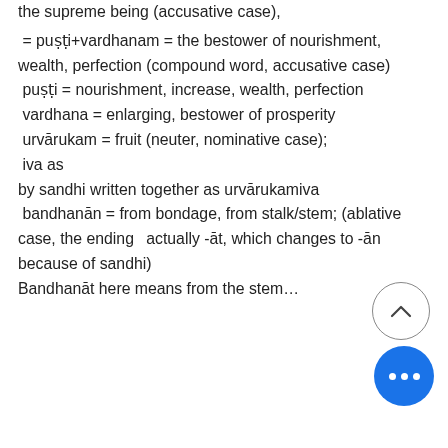…ugantim = the fragrant, the virtuous, the supreme being (accusative case),
 = puṣṭi+vardhanam = the bestower of nourishment, wealth, perfection (compound word, accusative case)
 puṣṭi = nourishment, increase, wealth, perfection
 vardhana = enlarging, bestower of prosperity
 urvārukam = fruit (neuter, nominative case);
 iva as
by sandhi written together as urvārukamiva
 bandhanān = from bondage, from stalk/stem; (ablative case, the ending is actually -āt, which changes to -ān because of sandhi)
Bandhanāt here means from the stem…